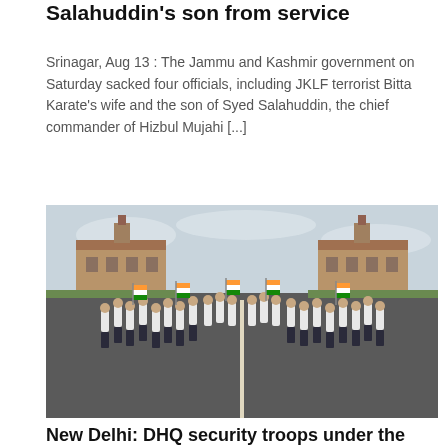Salahuddin's son from service
Srinagar, Aug 13 : The Jammu and Kashmir government on Saturday sacked four officials, including JKLF terrorist Bitta Karate's wife and the son of Syed Salahuddin, the chief commander of Hizbul Mujahi [...]
[Figure (photo): People in white and dark clothing marching on a road in front of large government buildings, waving Indian tricolour flags. A white centre line divides the road.]
New Delhi: DHQ security troops under the Ministry of Defence take...